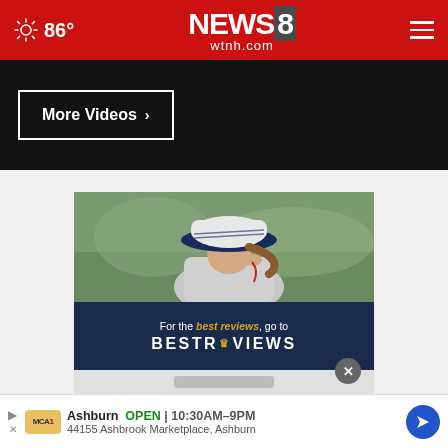86° NEWS8 wtnh.com
More Videos ›
[Figure (photo): Woman wearing a navy and white baseball cap adjusting earbuds, wearing a grey athletic top, with blurred green outdoor background]
[Figure (infographic): BestReviews advertisement banner: 'For the best reviews, go to BESTREVIEWS' with crown logo on dark navy background]
Ashburn  OPEN | 10:30AM–9PM  44155 Ashbrook Marketplace, Ashburn